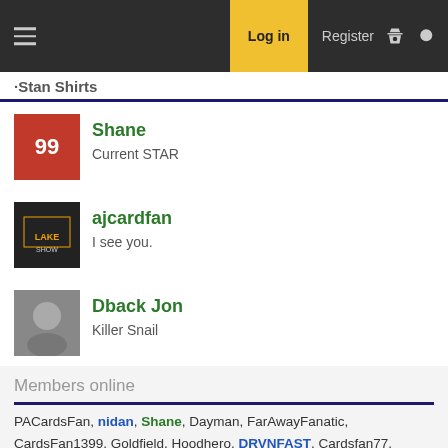Log in  Register
·Stan Shirts
Shane
Current STAR
ajcardfan
I see you.
Dback Jon
Killer Snail
Members online
PACardsFan, nidan, Shane, Dayman, FarAwayFanatic, CardsFan1399, Goldfield, Hoodhero, DRVNFAST, Cardsfan77, ajcardfan, DaHilg, TheCardFan, Snakester, PJ1, Syracusecards, OmahaCardsFan, londonpete, Tally Cardinal, Garthshort, RON_IN_OC, NittanyCard, OE_Thunder, tennis-player, Cardiac77, Metcalf Rules, Buckybird, Card'em, TRW, big al, Russ Smith, Harry, Dback Jon, BritCard, DaFlogger, Town Drunk, Mainstreet, cardncubfan, RedForeman, SoonerLou, Chaplin, juza76